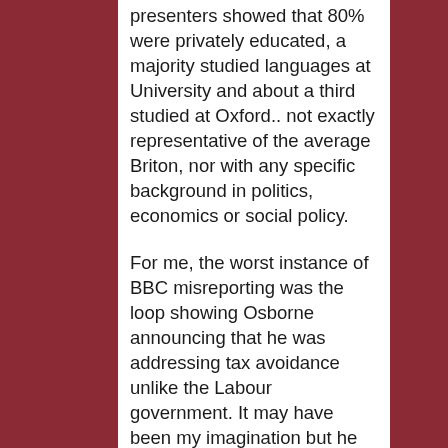presenters showed that 80% were privately educated, a majority studied languages at University and about a third studied at Oxford.. not exactly representative of the average Briton, nor with any specific background in politics, economics or social policy.
For me, the worst instance of BBC misreporting was the loop showing Osborne announcing that he was addressing tax avoidance unlike the Labour government. It may have been my imagination but he appeared Iago-ishly gleeful at misrepresenting the appalling agreement, that he had just signed, that the Swiss banks would extract 30% tax from anonymous British accounts on behalf of HMRC. Fortunately, the EU are contesting this agreement as being unlawful but Osborne had called the foot age f